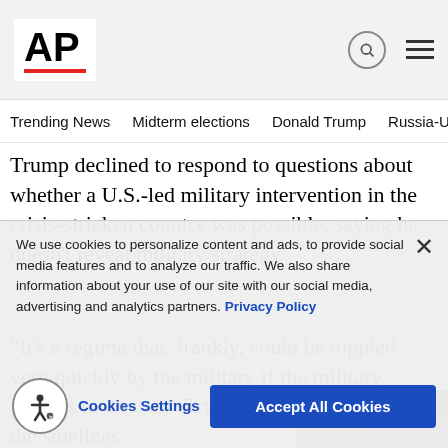[Figure (logo): AP (Associated Press) logo with red underline bar]
Trending News   Midterm elections   Donald Trump   Russia-Ukr
Trump declined to respond to questions about whether a U.S.-led military intervention in the crisis-stricken country was possible, saying he doesn't reveal military strategy.
“It’s a regime that, frankly, could be toppled very quickly by the military if the military decides to do that,” Trump said in comments on the sidelines
[Figure (photo): Soldiers in military gear outdoors, partial view]
We use cookies to personalize content and ads, to provide social media features and to analyze our traffic. We also share information about your use of our site with our social media, advertising and analytics partners. Privacy Policy
Cookies Settings
Accept All Cookies